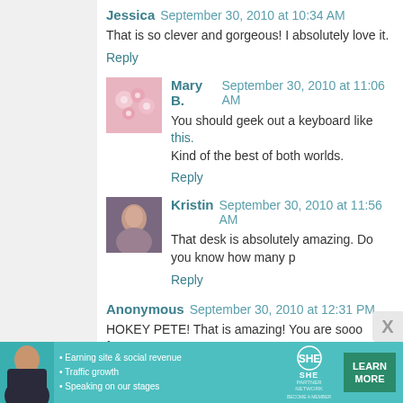Jessica  September 30, 2010 at 10:34 AM
That is so clever and gorgeous! I absolutely love it.
Reply
Mary B.  September 30, 2010 at 11:06 AM
You should geek out a keyboard like this. Kind of the best of both worlds.
Reply
Kristin  September 30, 2010 at 11:56 AM
That desk is absolutely amazing. Do you know how many p
Reply
Anonymous  September 30, 2010 at 12:31 PM
HOKEY PETE! That is amazing! You are sooo fortunate to sharing the work (but you already know that)! Keep it up--lo
Reply
[Figure (infographic): SHE Partner Network advertisement banner with woman photo, bullet points about earning site & social revenue, traffic growth, speaking on stages, SHE logo, and Learn More button]